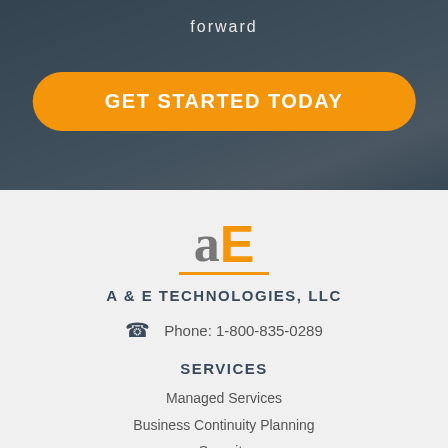forward
GET STARTED TODAY
[Figure (logo): aE logo — stylized lowercase 'a' in gray and uppercase 'E' in orange, with orange underline]
A & E TECHNOLOGIES, LLC
Phone: 1-800-835-0289
SERVICES
Managed Services
Business Continuity Planning
Security